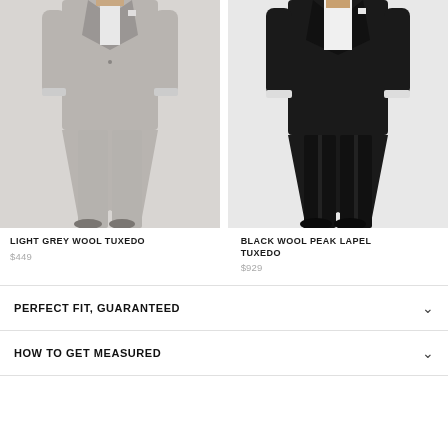[Figure (photo): Man wearing a light grey wool tuxedo with shawl lapel, white dress shirt, standing pose, cropped at torso and legs]
[Figure (photo): Man wearing a black wool peak lapel tuxedo with white dress shirt, standing pose, cropped at torso and legs]
LIGHT GREY WOOL TUXEDO
$449
BLACK WOOL PEAK LAPEL TUXEDO
$929
PERFECT FIT, GUARANTEED
HOW TO GET MEASURED